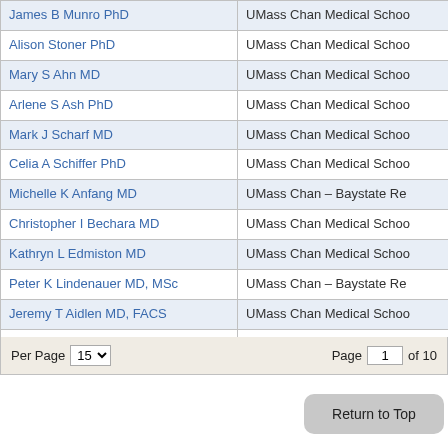| Name | Institution |
| --- | --- |
| James B Munro PhD | UMass Chan Medical Schoo |
| Alison Stoner PhD | UMass Chan Medical Schoo |
| Mary S Ahn MD | UMass Chan Medical Schoo |
| Arlene S Ash PhD | UMass Chan Medical Schoo |
| Mark J Scharf MD | UMass Chan Medical Schoo |
| Celia A Schiffer PhD | UMass Chan Medical Schoo |
| Michelle K Anfang MD | UMass Chan – Baystate Re |
| Christopher I Bechara MD | UMass Chan Medical Schoo |
| Kathryn L Edmiston MD | UMass Chan Medical Schoo |
| Peter K Lindenauer MD, MSc | UMass Chan – Baystate Re |
| Jeremy T Aidlen MD, FACS | UMass Chan Medical Schoo |
| Maria Theresa Basco MD, MPH | UMass Chan Medical Schoo |
Per Page 15  Page 1 of 10
Return to Top